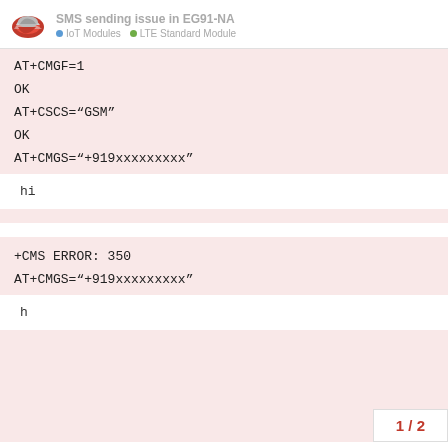SMS sending issue in EG91-NA | IoT Modules | LTE Standard Module
AT+CMGF=1
OK
AT+CSCS="GSM"
OK
AT+CMGS="+919xxxxxxxxx"
hi
+CMS ERROR: 350
AT+CMGS="+919xxxxxxxxx"
h
1 / 2